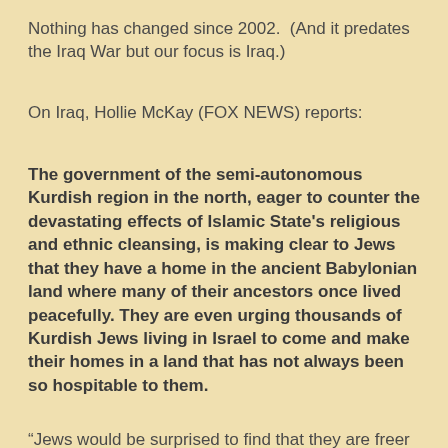Nothing has changed since 2002.  (And it predates the Iraq War but our focus is Iraq.)
On Iraq, Hollie McKay (FOX NEWS) reports:
The government of the semi-autonomous Kurdish region in the north, eager to counter the devastating effects of Islamic State's religious and ethnic cleansing, is making clear to Jews that they have a home in the ancient Babylonian land where many of their ancestors once lived peacefully. They are even urging thousands of Kurdish Jews living in Israel to come and make their homes in a land that has not always been so hospitable to them.
“Jews would be surprised to find that they are freer and safer here than in certain European capitals,” Sherzad Omer Mamsani, the Kurdistan Regional